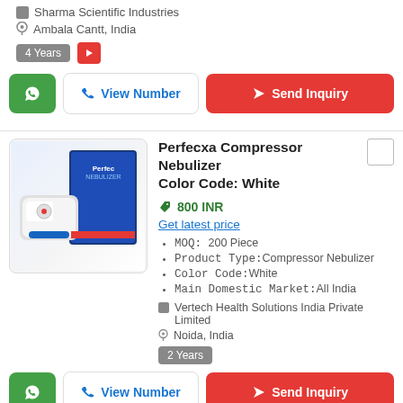Sharma Scientific Industries
Ambala Cantt, India
4 Years
[Figure (screenshot): Action buttons: WhatsApp (green), View Number (outlined), Send Inquiry (red)]
[Figure (photo): Perfecxa Compressor Nebulizer product image with box packaging]
Perfecxa Compressor Nebulizer Color Code: White
800 INR
Get latest price
MOQ: 200 Piece
Product Type:Compressor Nebulizer
Color Code:White
Main Domestic Market:All India
Vertech Health Solutions India Private Limited
Noida, India
2 Years
[Figure (screenshot): Action buttons: WhatsApp (green), View Number (outlined), Send Inquiry (red)]